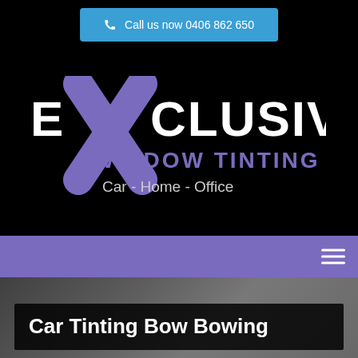Call us now 0406 862 650
[Figure (logo): Exclusive Window Tinting logo with large X in purple, text 'EXCLUSIVE WINDOW TINTING Car - Home - Office' on black background]
Car Tinting Bow Bowing
Mastering the art of window tinting & car detailing